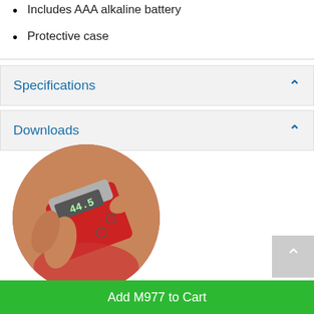Includes AAA alkaline battery
Protective case
Specifications
Downloads
[Figure (photo): A hand holding a red and silver digital angle gauge/inclinometer (model M977) displaying 44.5 degrees, shown in a circular crop.]
Add M977 to Cart